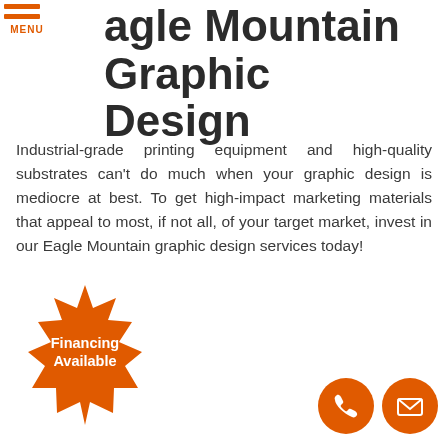MENU
Eagle Mountain Graphic Design
Industrial-grade printing equipment and high-quality substrates can't do much when your graphic design is mediocre at best. To get high-impact marketing materials that appeal to most, if not all, of your target market, invest in our Eagle Mountain graphic design services today!
[Figure (illustration): Orange starburst/badge shape with white bold text reading 'Financing Available']
[Figure (illustration): Two orange circular icons at bottom right: a phone handset icon and an envelope/email icon]